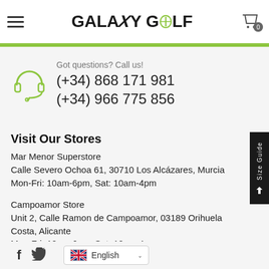Galaxy Golf
Got questions? Call us!
(+34) 868 171 981
(+34) 966 775 856
Visit Our Stores
Mar Menor Superstore
Calle Severo Ochoa 61, 30710 Los Alcázares, Murcia
Mon-Fri: 10am-6pm, Sat: 10am-4pm
Campoamor Store
Unit 2, Calle Ramon de Campoamor, 03189 Orihuela Costa, Alicante
Mon-Fri: 10am-6pm, Sat: 10am-4pm
English